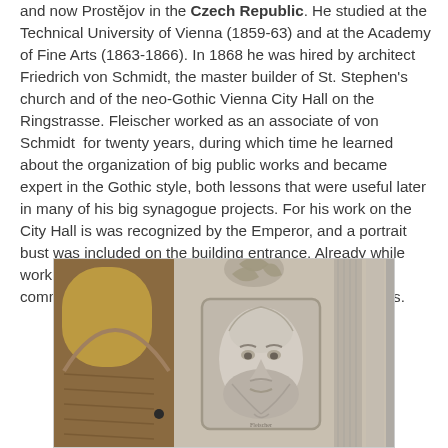and now Prostějov in the Czech Republic. He studied at the Technical University of Vienna (1859-63) and at the Academy of Fine Arts (1863-1866). In 1868 he was hired by architect Friedrich von Schmidt, the master builder of St. Stephen's church and of the neo-Gothic Vienna City Hall on the Ringstrasse. Fleischer worked as an associate of von Schmidt  for twenty years, during which time he learned about the organization of big public works and became expert in the Gothic style, both lessons that were useful later in many of his big synagogue projects. For his work on the City Hall is was recognized by the Emperor, and a portrait bust was included on the building entrance. Already while working with Schmidt he was recognized by the Jewish community and took on several synagogue commissions.
[Figure (photo): A stone relief portrait bust of a bearded man carved into an architectural element of a Gothic-style building entrance, surrounded by ornate stone columns and decorative leaf carvings. A wooden door with textured glass is partially visible on the left.]